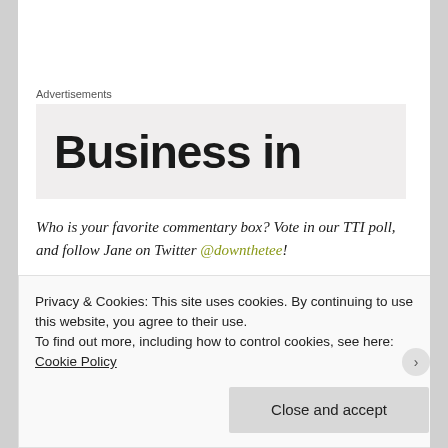Advertisements
[Figure (other): Advertisement banner with partial text 'Business in' on a light grey background]
Who is your favorite commentary box? Vote in our TTI poll, and follow Jane on Twitter @downthetee!
Advertisements
[Figure (logo): Automattic logo with stylized blue O]
Privacy & Cookies: This site uses cookies. By continuing to use this website, you agree to their use.
To find out more, including how to control cookies, see here: Cookie Policy
Close and accept